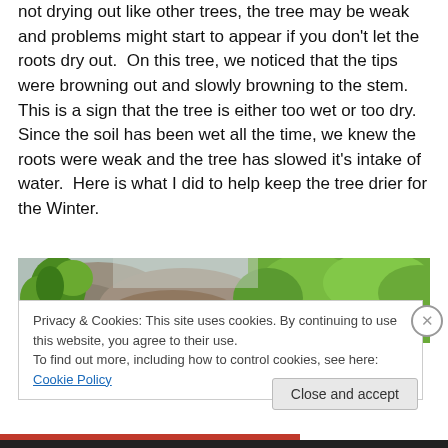not drying out like other trees, the tree may be weak and problems might start to appear if you don't let the roots dry out.  On this tree, we noticed that the tips were browning out and slowly browning to the stem.  This is a sign that the tree is either too wet or too dry. Since the soil has been wet all the time, we knew the roots were weak and the tree has slowed it's intake of water.  Here is what I did to help keep the tree drier for the Winter.
[Figure (photo): Partial photo of a bonsai tree with green foliage and rocks, partially cropped at top]
Privacy & Cookies: This site uses cookies. By continuing to use this website, you agree to their use.
To find out more, including how to control cookies, see here: Cookie Policy